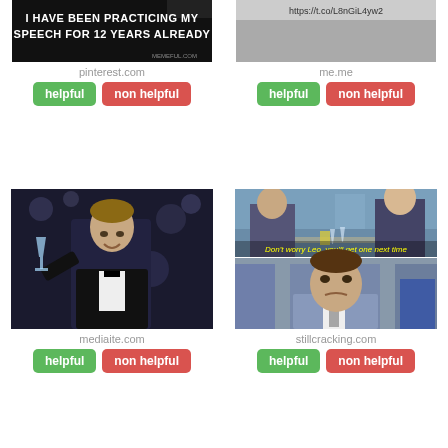[Figure (photo): Meme image with text 'I HAVE BEEN PRACTICING MY SPEECH FOR 12 YEARS ALREADY' on dark background]
pinterest.com
helpful | non helpful
[Figure (photo): Partial meme image with URL https://t.co/L8nGiL4yw2 visible]
me.me
helpful | non helpful
[Figure (photo): Leonardo DiCaprio raising a champagne glass at a party in tuxedo]
mediaite.com
helpful | non helpful
[Figure (photo): Two-panel meme from Wolf of Wall Street: top panel shows two men at restaurant with text 'Don't worry Leo, you'll get one next time', bottom panel shows Leo with sad expression]
stillcracking.com
helpful | non helpful